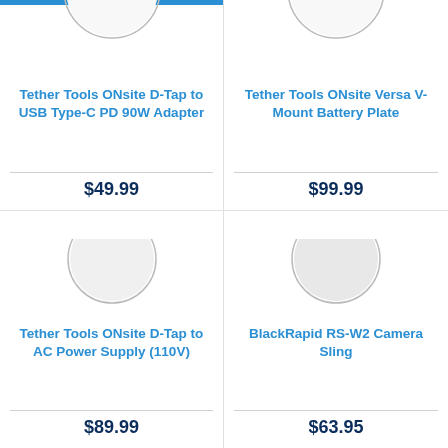[Figure (photo): Tether Tools ONsite D-Tap to USB Type-C PD 90W Adapter product image (partial, cropped at top)]
Tether Tools ONsite D-Tap to USB Type-C PD 90W Adapter
$49.99
[Figure (photo): Tether Tools ONsite Versa V-Mount Battery Plate product image (partial, cropped at top)]
Tether Tools ONsite Versa V-Mount Battery Plate
$99.99
[Figure (photo): Tether Tools ONsite D-Tap to AC Power Supply (110V) product image]
Tether Tools ONsite D-Tap to AC Power Supply (110V)
$89.99
[Figure (photo): BlackRapid RS-W2 Camera Sling product image]
BlackRapid RS-W2 Camera Sling
$63.95